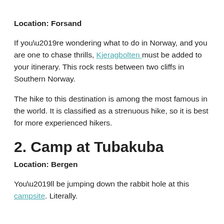Location: Forsand
If you’re wondering what to do in Norway, and you are one to chase thrills, Kjeragbolten must be added to your itinerary. This rock rests between two cliffs in Southern Norway.
The hike to this destination is among the most famous in the world. It is classified as a strenuous hike, so it is best for more experienced hikers.
2. Camp at Tubakuba
Location: Bergen
You’ll be jumping down the rabbit hole at this campsite. Literally.